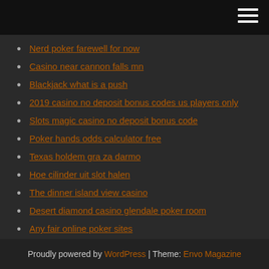Nerd poker farewell for now
Casino near cannon falls mn
Blackjack what is a push
2019 casino no deposit bonus codes us players only
Slots magic casino no deposit bonus code
Poker hands odds calculator free
Texas holdem gra za darmo
Hoe cilinder uit slot halen
The dinner island view casino
Desert diamond casino glendale poker room
Any fair online poker sites
Proudly powered by WordPress | Theme: Envo Magazine